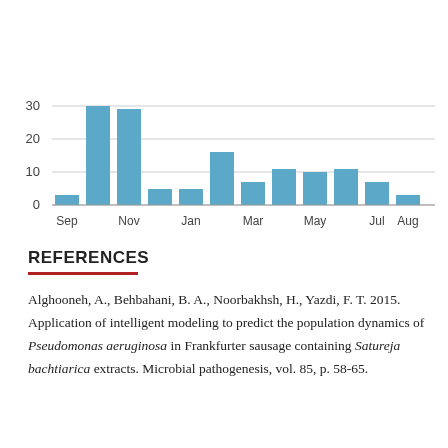[Figure (bar-chart): ]
REFERENCES
Alghooneh, A., Behbahani, B. A., Noorbakhsh, H., Yazdi, F. T. 2015. Application of intelligent modeling to predict the population dynamics of Pseudomonas aeruginosa in Frankfurter sausage containing Satureja bachtiarica extracts. Microbial pathogenesis, vol. 85, p. 58-65.